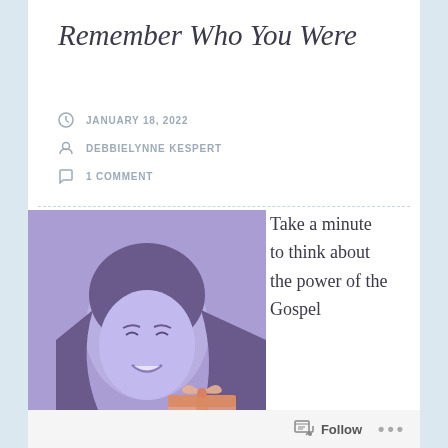Remember Who You Were
JANUARY 18, 2022
DEBBIELYNNE KESPERT
1 COMMENT
[Figure (illustration): Illustrated portrait of a smiling woman with dark hair on a purple background, holding a wrapped gift with a pink/peach bow.]
Take a minute to think about the power of the Gospel
Follow